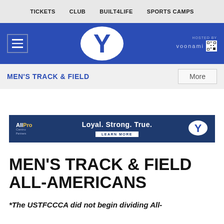TICKETS   CLUB   BUILT4LIFE   SPORTS CAMPS
[Figure (logo): BYU blue header with hamburger menu button, BYU oval Y logo, and Hosted By Voonami branding with QR code]
MEN'S TRACK & FIELD
[Figure (illustration): All Pro Centro advertisement banner: Loyal. Strong. True. LEARN MORE with BYU Y logo on dark navy background]
MEN'S TRACK & FIELD ALL-AMERICANS
*The USTFCCCA did not begin dividing All-